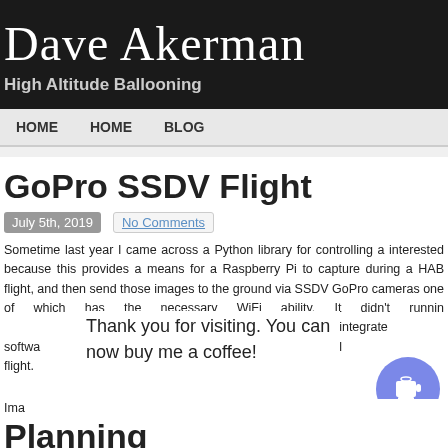Dave Akerman
High Altitude Ballooning
HOME   HOME   BLOG
GoPro SSDV Flight
July 5th, 2019   No Comments
Sometime last year I came across a Python library for controlling a interested because this provides a means for a Raspberry Pi to capture during a HAB flight, and then send those images to the ground via SSDV GoPro cameras one of which has the necessary WiFi ability. It didn't running d I then integrated softwa ff publishing till flight.
Thank you for visiting. You can now buy me a coffee!
[Figure (illustration): Coffee cup icon on purple circular button]
Ima
Planning